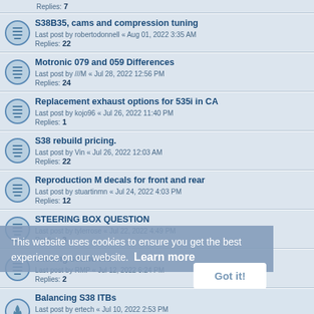Replies: 7
S38B35, cams and compression tuning
Last post by robertodonnell « Aug 01, 2022 3:35 AM
Replies: 22
Motronic 079 and 059 Differences
Last post by ///M « Jul 28, 2022 12:56 PM
Replies: 24
Replacement exhaust options for 535i in CA
Last post by kojo96 « Jul 26, 2022 11:40 PM
Replies: 1
S38 rebuild pricing.
Last post by Vin « Jul 26, 2022 12:03 AM
Replies: 22
Reproduction M decals for front and rear
Last post by stuartinmn « Jul 24, 2022 4:03 PM
Replies: 12
STEERING BOX QUESTION
Last post by tylerrose « Jul 22, 2022 4:49 PM
Replies: 3
clicking sound M5
Last post by RMP « Jul 12, 2022 6:24 PM
Replies: 2
Balancing S38 ITBs
Last post by ertech « Jul 10, 2022 2:53 PM
Replies: 134
E28 M5 Brake upgrade
Last post by kojo96 « Jul 08, 2022 12:57 PM
This website uses cookies to ensure you get the best experience on our website. Learn more
Got it!